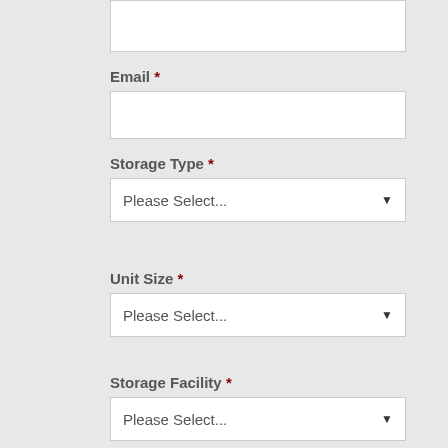Email *
Storage Type *
Unit Size *
Storage Facility *